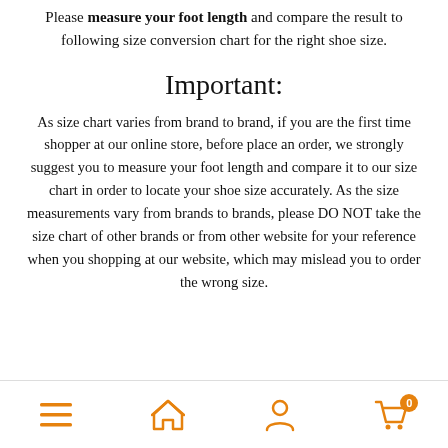Please measure your foot length and compare the result to following size conversion chart for the right shoe size.
Important:
As size chart varies from brand to brand, if you are the first time shopper at our online store, before place an order, we strongly suggest you to measure your foot length and compare it to our size chart in order to locate your shoe size accurately. As the size measurements vary from brands to brands, please DO NOT take the size chart of other brands or from other website for your reference when you shopping at our website, which may mislead you to order the wrong size.
Navigation footer with menu, home, profile, and cart icons